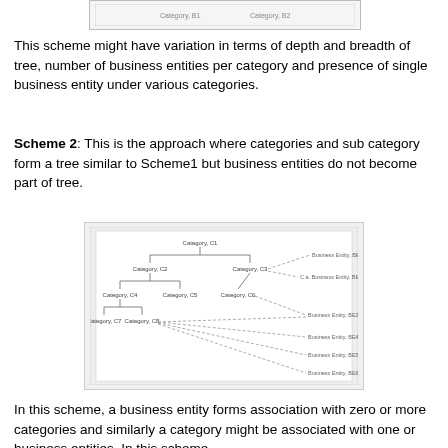[Figure (other): Top portion of a tree diagram showing categories and business entities (partially visible, cropped at top of page)]
This scheme might have variation in terms of depth and breadth of tree, number of business entities per category and presence of single business entity under various categories.
Scheme 2: This is the approach where categories and sub category form a tree similar to Scheme1 but business entities do not become part of tree.
[Figure (organizational-chart): Tree diagram for Scheme 2 showing Category C1 at root, branching to Category C2 and Category C3. C2 branches to Category C4 and Category C5. C4 branches to Category C7 and Category C8. Category C6 is also shown. Business entities (BE1, BE2, BE3, BE4) are shown to the right connected by dashed lines to multiple categories, illustrating that business entities are not part of the tree but are associated with categories.]
In this scheme, a business entity forms association with zero or more categories and similarly a category might be associated with one or business entities. In this scheme